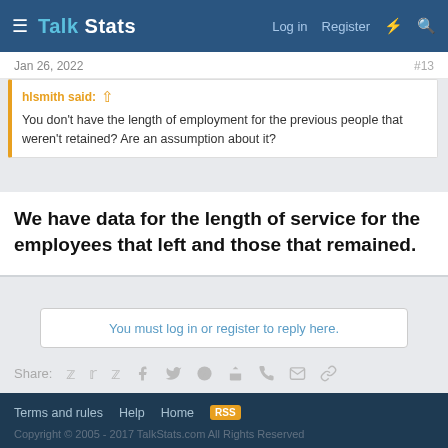Talk Stats — Log in   Register
Jan 26, 2022   #13
hlsmith said: ↑
You don't have the length of employment for the previous people that weren't retained? Are an assumption about it?
We have data for the length of service for the employees that left and those that remained.
You must log in or register to reply here.
Share:
‹ Probability
Terms and rules   Help   Home   [RSS]
Copyright © 2005 - 2017 TalkStats.com All Rights Reserved